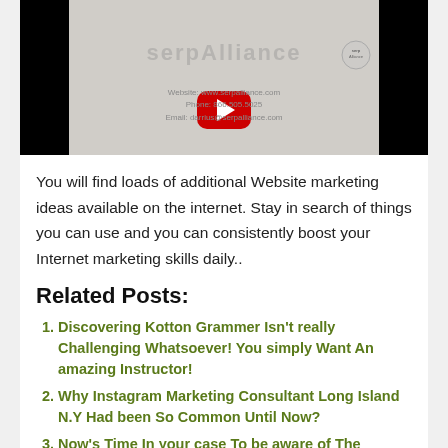[Figure (screenshot): YouTube video thumbnail showing 'Marketing Agency Gre...' with SerpAlliance branding, a red YouTube play button, contact information blurred out, and black side bars.]
You will find loads of additional Website marketing ideas available on the internet. Stay in search of things you can use and you can consistently boost your Internet marketing skills daily..
Related Posts:
Discovering Kotton Grammer Isn't really Challenging Whatsoever! You simply Want An amazing Instructor!
Why Instagram Marketing Consultant Long Island N.Y Had been So Common Until Now?
Now's Time In your case To be aware of The